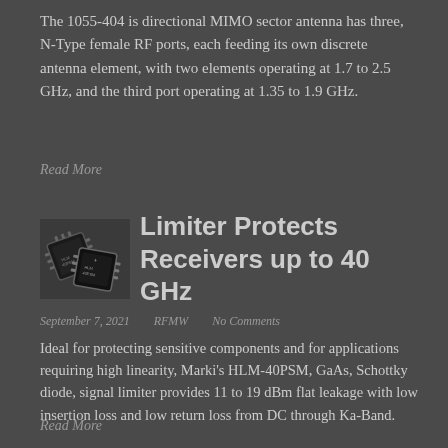The 1055-404 is directional MIMO sector antenna has three, N-Type female RF ports, each feeding its own discrete antenna element, with two elements operating at 1.7 to 2.5 GHz, and the third port operating at 1.35 to 1.9 GHz.
Read More
[Figure (photo): Small product photo of electronic RF components/chips on a dark background]
Limiter Protects Receivers up to 40 GHz
September 7, 2021   RFMW   No Comments
Ideal for protecting sensitive components and for applications requiring high linearity, Marki's HLM-40PSM, GaAs, Schottky diode, signal limiter provides 11 to 19 dBm flat leakage with low insertion loss and low return loss from DC through Ka-Band.
Read More